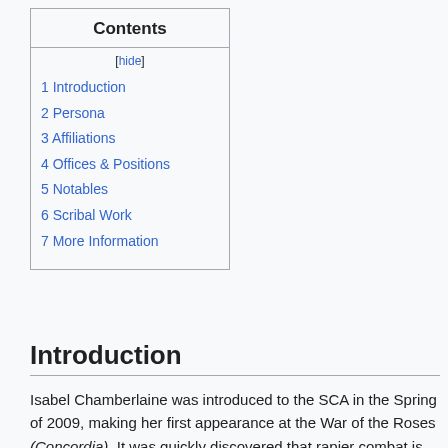Contents
[hide]
1 Introduction
2 Persona
3 Affiliations
4 Offices & Positions
5 Notables
6 Scribal Work
7 More Information
Introduction
Isabel Chamberlaine was introduced to the SCA in the Spring of 2009, making her first appearance at the War of the Roses (Concordia). It was quickly discovered that rapier combat is her main passion, followed closely by the scribal arts. She also dabbles in a number of other activities.